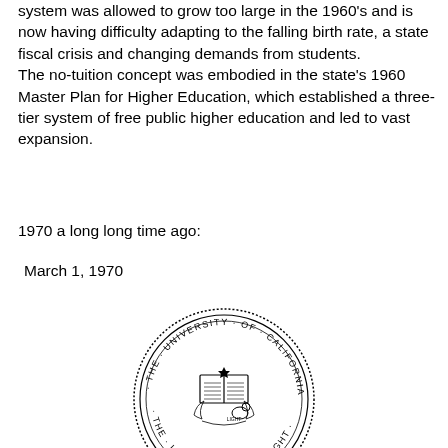system was allowed to grow too large in the 1960's and is now having difficulty adapting to the falling birth rate, a state fiscal crisis and changing demands from students. The no-tuition concept was embodied in the state's 1960 Master Plan for Higher Education, which established a three-tier system of free public higher education and led to vast expansion.
1970 a long long time ago:
March 1, 1970
[Figure (logo): University of California official seal — circular seal with text 'THE UNIVERSITY OF CALIFORNIA' around the border, dotted outer ring, inner imagery of an open book, star, and a bear with the motto 'LET THERE BE LIGHT']